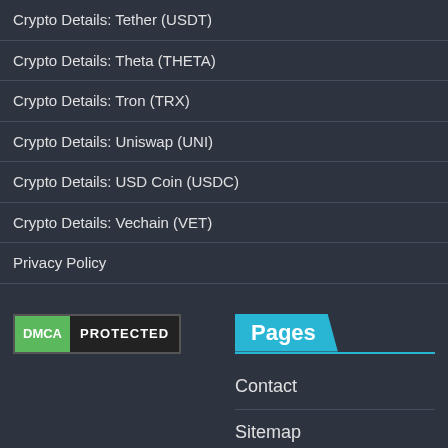Crypto Details: Tether (USDT)
Crypto Details: Theta (THETA)
Crypto Details: Tron (TRX)
Crypto Details: Uniswap (UNI)
Crypto Details: USD Coin (USDC)
Crypto Details: Vechain (VET)
Privacy Policy
[Figure (logo): DMCA Protected badge with green DMCA label and dark PROTECTED text]
Pages
Contact
Sitemap
Cookie Policy
Digital Millennium